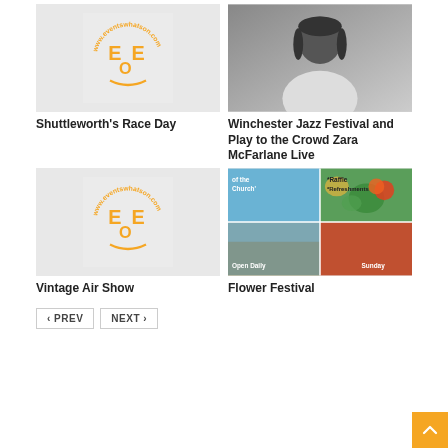[Figure (logo): EventsWhatson.com EEO logo on light grey background]
Shuttleworth's Race Day
[Figure (photo): Portrait photo of Zara McFarlane, a Black woman with dreadlocks wearing earrings and a white outfit]
Winchester Jazz Festival and Play to the Crowd Zara McFarlane Live
[Figure (logo): EventsWhatson.com EEO logo on light grey background]
Vintage Air Show
[Figure (photo): Flower Festival promotional image with colourful flowers, text: 'of the Church', 'Raffle', 'Refreshments', 'Open Daily', 'Sunday']
Flower Festival
< PREV
NEXT >